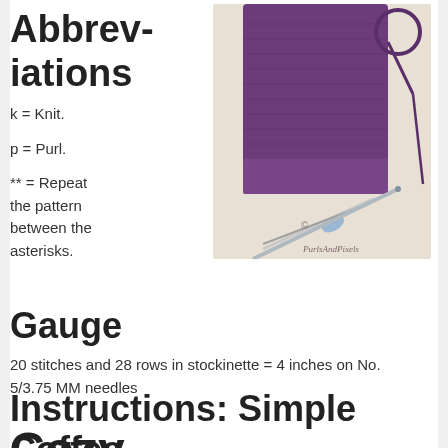Abbreviations
k = Knit.
p = Purl.
** = Repeat the pattern between the asterisks.
[Figure (photo): Purple knitted coffee cozy with ribbed bottom edge and a knitting needle, scissors, and yarn visible in the background on a white wooden surface. Watermark reads PurlsAndPixels.]
Gauge
20 stitches and 28 rows in stockinette = 4 inches on No. 5/3.75 MM needles
Instructions: Simple Coffee Cozy